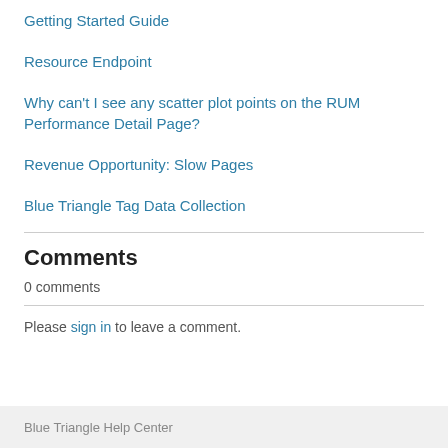Getting Started Guide
Resource Endpoint
Why can't I see any scatter plot points on the RUM Performance Detail Page?
Revenue Opportunity: Slow Pages
Blue Triangle Tag Data Collection
Comments
0 comments
Please sign in to leave a comment.
Blue Triangle Help Center